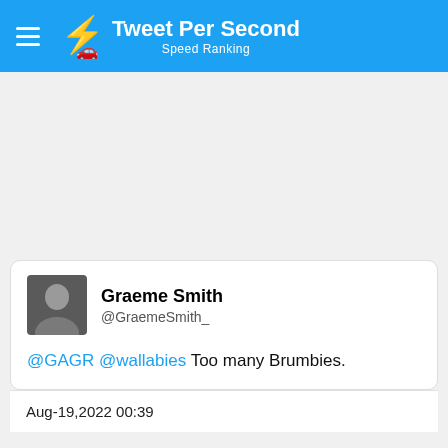Tweet Per Second — Speed Ranking
[Figure (screenshot): Tweet card showing Graeme Smith @GraemeSmith_ tweeting: @GAGR @wallabies Too many Brumbies. Dated Aug-19,2022 00:39]
Graeme Smith
@GraemeSmith_
@GAGR @wallabies Too many Brumbies.
Aug-19,2022 00:39